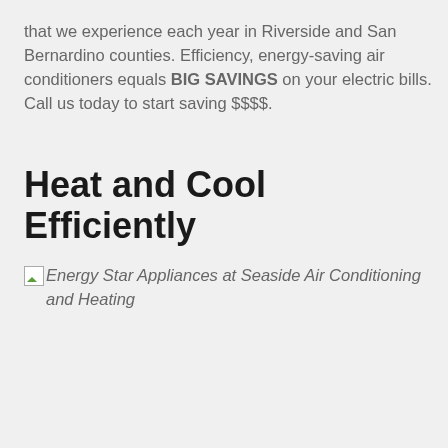that we experience each year in Riverside and San Bernardino counties. Efficiency, energy-saving air conditioners equals BIG SAVINGS on your electric bills. Call us today to start saving $$$$.
Heat and Cool Efficiently
[Figure (photo): Broken image placeholder for Energy Star Appliances at Seaside Air Conditioning and Heating]